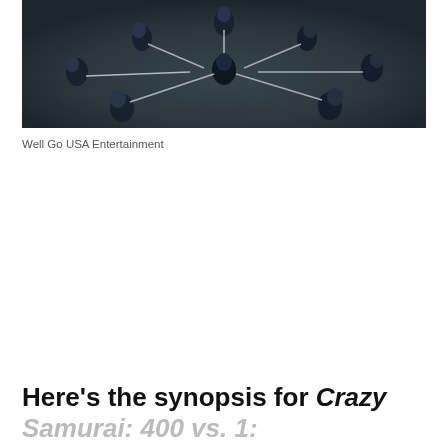[Figure (photo): A group of people in dark clothing arranged in a circle, holding long sticks or poles pointed toward the center, viewed from above on a dark ground surface.]
Well Go USA Entertainment
Here's the synopsis for Crazy Samurai: 400 vs. 1: